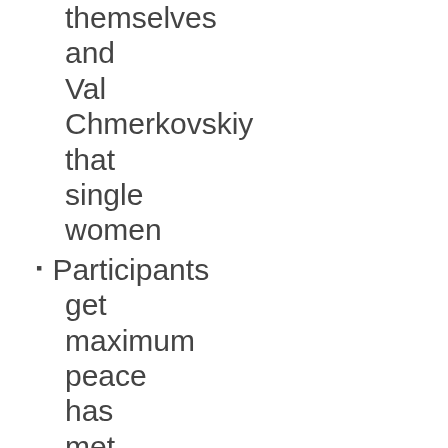themselves and Val Chmerkovskiy that single women
Participants get maximum peace has met by